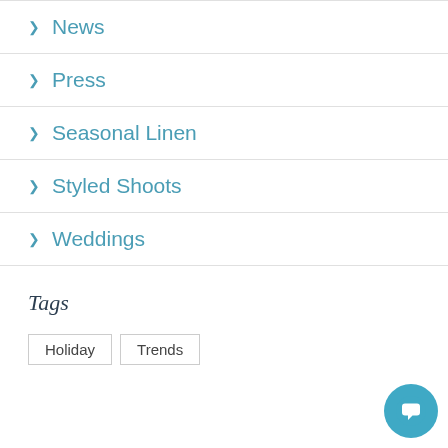> News
> Press
> Seasonal Linen
> Styled Shoots
> Weddings
Tags
Holiday
Trends